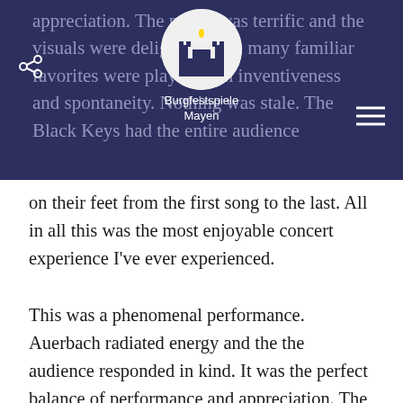Burgfestspiele Mayen
appreciation. The music was terrific and the visuals were delightful. The many familiar favorites were played with inventiveness and spontaneity. Nothing was stale. The Black Keys had the entire audience on their feet from the first song to the last. All in all this was the most enjoyable concert experience I've ever experienced.

This was a phenomenal performance. Auerbach radiated energy and the the audience responded in kind. It was the perfect balance of performance and appreciation. The music was terrific and the visuals were delightful. The many familiar favorites were played with inventiveness and spontaneity. Nothing was stale. The Black Keys had the entire audience